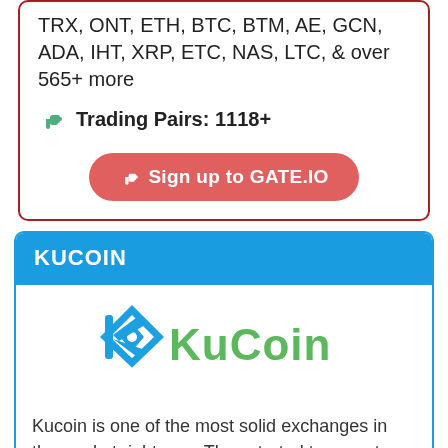TRX, ONT, ETH, BTC, BTM, AE, GCN, ADA, IHT, XRP, ETC, NAS, LTC, & over 565+ more
Trading Pairs: 1118+
Sign up to GATE.IO
KUCOIN
[Figure (logo): KuCoin logo with blue diamond-K symbol and green KuCoin wordmark]
Kucoin is one of the most solid exchanges in the market right now. They started to operate back in 2017. They take regular payment methods such as wire and bank transfers as well as other cryptocurrencies